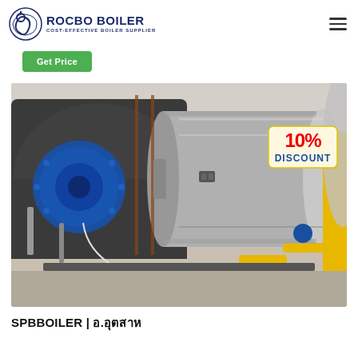ROCBO BOILER - COST-EFFECTIVE BOILER SUPPLIER
Get Price
[Figure (photo): Industrial boiler installation showing a large gas-fired fire tube boiler with blue burner assembly on the left, silver cylindrical body, yellow gas pipes, and various valves and fittings. A 10% DISCOUNT badge is overlaid in the top right corner.]
SPBBOILER | อ.อุตสาห